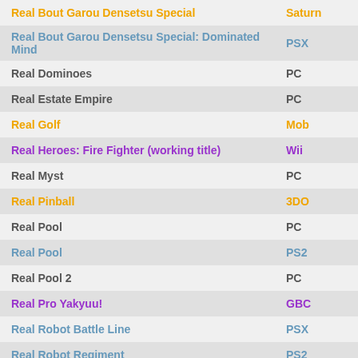| Game | Platform |
| --- | --- |
| Real Bout Garou Densetsu Special | Saturn |
| Real Bout Garou Densetsu Special: Dominated Mind | PSX |
| Real Dominoes | PC |
| Real Estate Empire | PC |
| Real Golf | Mob |
| Real Heroes: Fire Fighter (working title) | Wii |
| Real Myst | PC |
| Real Pinball | 3DO |
| Real Pool | PC |
| Real Pool | PS2 |
| Real Pool 2 | PC |
| Real Pro Yakyuu! | GBC |
| Real Robot Battle Line | PSX |
| Real Robot Regiment | PS2 |
| Real Robots Final Attack | PSX |
| Real Rode | PS2 |
| Real Soccer 2004 | Mob |
| Real Soccer 2005 | Mob |